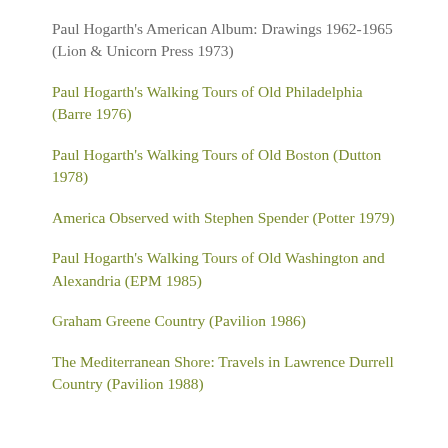Paul Hogarth's American Album: Drawings 1962-1965 (Lion & Unicorn Press 1973)
Paul Hogarth's Walking Tours of Old Philadelphia (Barre 1976)
Paul Hogarth's Walking Tours of Old Boston (Dutton 1978)
America Observed with Stephen Spender (Potter 1979)
Paul Hogarth's Walking Tours of Old Washington and Alexandria (EPM 1985)
Graham Greene Country (Pavilion 1986)
The Mediterranean Shore: Travels in Lawrence Durrell Country (Pavilion 1988)